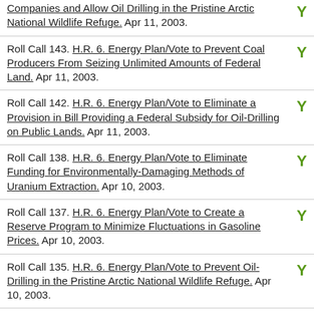Companies and Allow Oil Drilling in the Pristine Arctic National Wildlife Refuge. Apr 11, 2003. Y
Roll Call 143. H.R. 6. Energy Plan/Vote to Prevent Coal Producers From Seizing Unlimited Amounts of Federal Land. Apr 11, 2003. Y
Roll Call 142. H.R. 6. Energy Plan/Vote to Eliminate a Provision in Bill Providing a Federal Subsidy for Oil-Drilling on Public Lands. Apr 11, 2003. Y
Roll Call 138. H.R. 6. Energy Plan/Vote to Eliminate Funding for Environmentally-Damaging Methods of Uranium Extraction. Apr 10, 2003. Y
Roll Call 137. H.R. 6. Energy Plan/Vote to Create a Reserve Program to Minimize Fluctuations in Gasoline Prices. Apr 10, 2003. Y
Roll Call 135. H.R. 6. Energy Plan/Vote to Prevent Oil-Drilling in the Pristine Arctic National Wildlife Refuge. Apr 10, 2003. Y
Roll Call 134. H.R. 6. Energy Plan/Vote to Allow, But Limit, Oil Drilling in the Pristine Arctic National Wildlife N